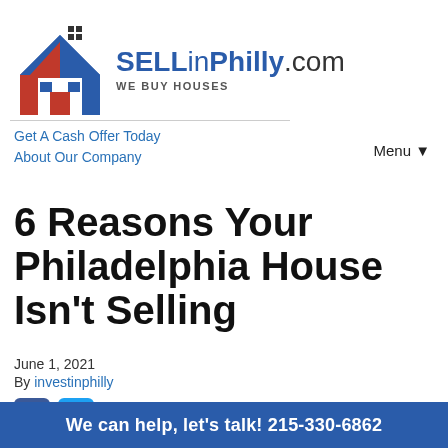[Figure (logo): SELLinPhilly.com logo with house icon in red, white and blue, and tagline WE BUY HOUSES]
Get A Cash Offer Today
About Our Company
Menu ▼
6 Reasons Your Philadelphia House Isn't Selling
June 1, 2021
By investinphilly
[Figure (infographic): Facebook and Twitter social share buttons]
We can help, let's talk! 215-330-6862